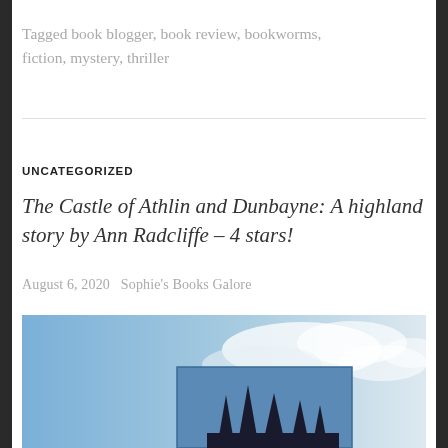Tagged book blogger, book review, bookworms, fiction, mystery, thriller
UNCATEGORIZED
The Castle of Athlin and Dunbayne: A highland story by Ann Radcliffe – 4 stars!
August 6, 2020   Sophie's Books Galore
[Figure (photo): Photo of a book cover against a blue cloudy sky, with gothic spires visible at the bottom]